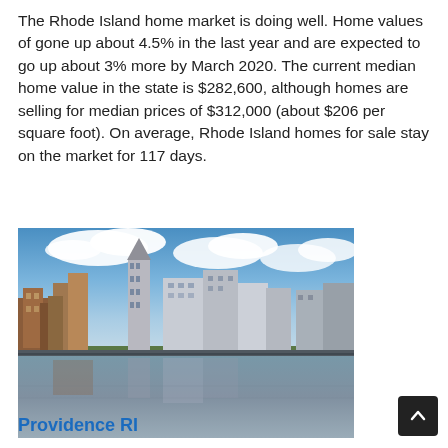The Rhode Island home market is doing well. Home values of gone up about 4.5% in the last year and are expected to go up about 3% more by March 2020. The current median home value in the state is $282,600, although homes are selling for median prices of $312,000 (about $206 per square foot). On average, Rhode Island homes for sale stay on the market for 117 days.
[Figure (photo): Cityscape of Providence, Rhode Island waterfront with buildings reflected in water under blue sky with clouds]
Providence RI